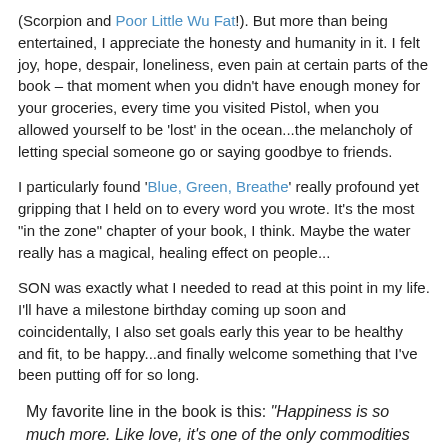(Scorpion and Poor Little Wu Fat!). But more than being entertained, I appreciate the honesty and humanity in it. I felt joy, hope, despair, loneliness, even pain at certain parts of the book – that moment when you didn't have enough money for your groceries, every time you visited Pistol, when you allowed yourself to be 'lost' in the ocean...the melancholy of letting special someone go or saying goodbye to friends.
I particularly found 'Blue, Green, Breathe' really profound yet gripping that I held on to every word you wrote. It's the most "in the zone" chapter of your book, I think. Maybe the water really has a magical, healing effect on people...
SON was exactly what I needed to read at this point in my life. I'll have a milestone birthday coming up soon and coincidentally, I also set goals early this year to be healthy and fit, to be happy...and finally welcome something that I've been putting off for so long.
My favorite line in the book is this: "Happiness is so much more. Like love, it's one of the only commodities you get more of by giving it away to others."